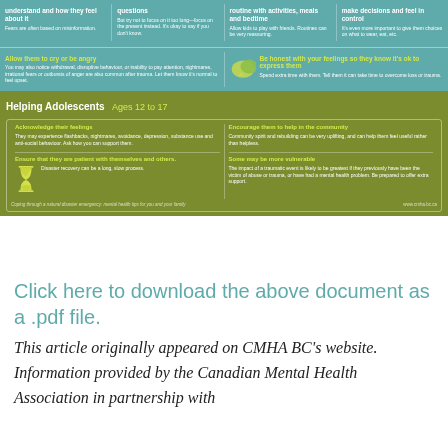[Figure (infographic): Infographic about helping adolescents (ages 12-17) cope with trauma/disaster. Top teal section has advice panels. Bottom olive section titled 'Helping Adolescents Ages 12 to 17' with four advice panels inside a bordered box. Footer shows CMHA BC branding.]
Click here to download the above document as a .pdf file.
This article originally appeared on CMHA BC's website. Information provided by the Canadian Mental Health Association in partnership with